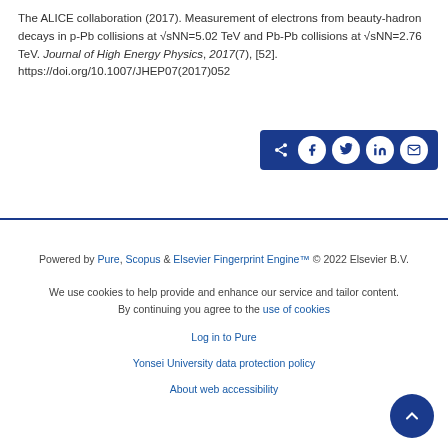The ALICE collaboration (2017). Measurement of electrons from beauty-hadron decays in p-Pb collisions at √sNN=5.02 TeV and Pb-Pb collisions at √sNN=2.76 TeV. Journal of High Energy Physics, 2017(7), [52]. https://doi.org/10.1007/JHEP07(2017)052
[Figure (other): Share bar with social media icons: share, Facebook, Twitter, LinkedIn, email]
Powered by Pure, Scopus & Elsevier Fingerprint Engine™ © 2022 Elsevier B.V. We use cookies to help provide and enhance our service and tailor content. By continuing you agree to the use of cookies Log in to Pure Yonsei University data protection policy About web accessibility